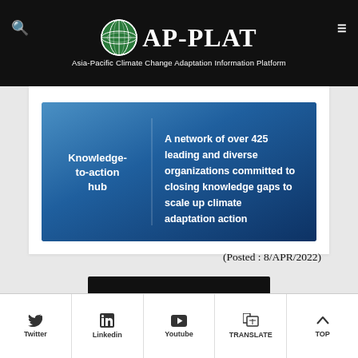AP-PLAT Asia-Pacific Climate Change Adaptation Information Platform
[Figure (infographic): Knowledge-to-action hub banner: A network of over 425 leading and diverse organizations committed to closing knowledge gaps to scale up climate adaptation action]
(Posted : 8/APR/2022)
BACK →
Twitter  Linkedin  Youtube  TRANSLATE  TOP